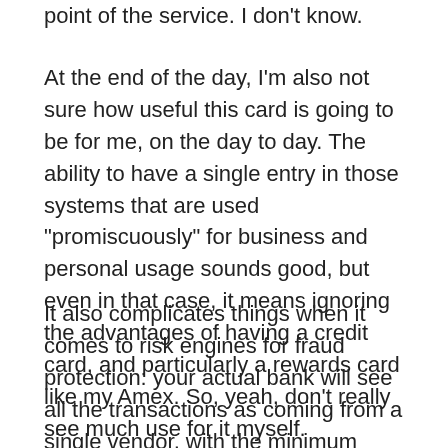point of the service. I don't know.
At the end of the day, I'm also not sure how useful this card is going to be for me, on the day to day. The ability to have a single entry in those systems that are used "promiscuously" for business and personal usage sounds good, but even in that case, it means ignoring the advantages of having a credit card, and particularly a rewards card like my Amex. So, yeah, don't really see much use for it myself.
It also complicates things when it comes to risk engines for fraud protection: your actual bank will see all the transactions as coming from a single vendor, with the minimum amount of information attached to it. This will likely defeat all the fraud checks by the bank